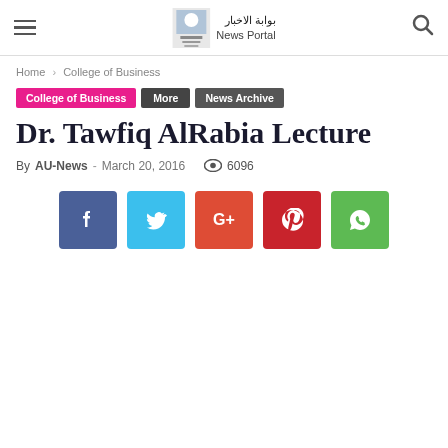بوابة الاخبار News Portal
Home › College of Business
College of Business | More | News Archive
Dr. Tawfiq AlRabia Lecture
By AU-News - March 20, 2016  6096
[Figure (infographic): Social share buttons: Facebook (blue-purple), Twitter (light blue), Google+ (red-orange), Pinterest (dark red), WhatsApp (green)]